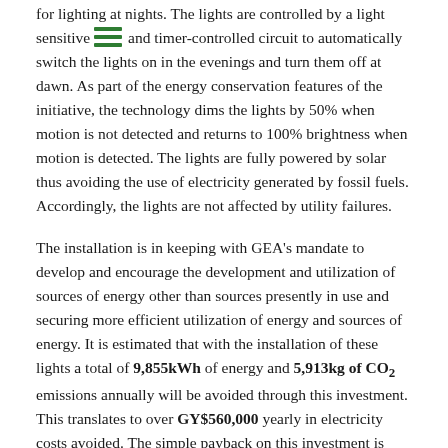for lighting at nights. The lights are controlled by a light sensitive and timer-controlled circuit to automatically switch the lights on in the evenings and turn them off at dawn. As part of the energy conservation features of the initiative, the technology dims the lights by 50% when motion is not detected and returns to 100% brightness when motion is detected. The lights are fully powered by solar thus avoiding the use of electricity generated by fossil fuels. Accordingly, the lights are not affected by utility failures.
The installation is in keeping with GEA's mandate to develop and encourage the development and utilization of sources of energy other than sources presently in use and securing more efficient utilization of energy and sources of energy. It is estimated that with the installation of these lights a total of 9,855kWh of energy and 5,913kg of CO2 emissions annually will be avoided through this investment. This translates to over GY$560,000 yearly in electricity costs avoided. The simple payback on this investment is about four (4) years.